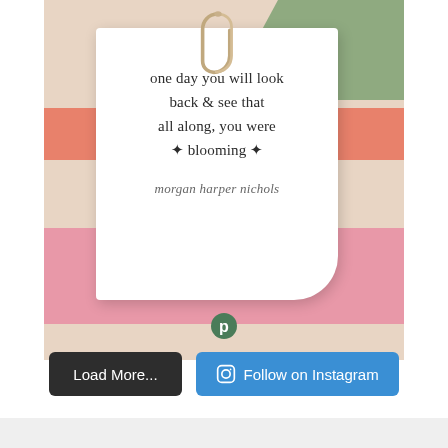[Figure (illustration): Instagram post featuring a note card with a paper clip on top, layered over a colorful striped background (sage green, salmon/orange, pink, beige). The note card contains a motivational quote in serif font and a cursive signature. Below the card is a Piktochart logo.]
one day you will look back & see that all along, you were ✦ blooming ✦
morgan harper nichols
Load More...
Follow on Instagram